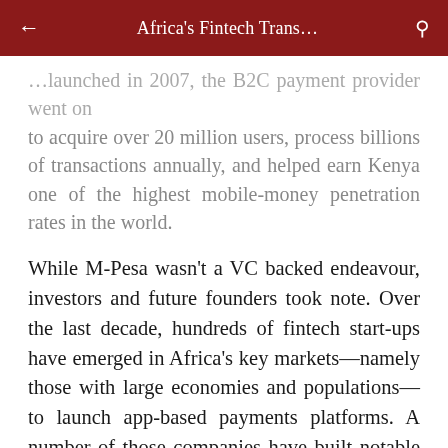Africa's Fintech Trans…
…launched in 2007, the B2C payment provider went on to acquire over 20 million users, process billions of transactions annually, and helped earn Kenya one of the highest mobile-money penetration rates in the world.
While M-Pesa wasn't a VC backed endeavour, investors and future founders took note. Over the last decade, hundreds of fintech start-ups have emerged in Africa's key markets—namely those with large economies and populations—to launch app-based payments platforms. A number of those companies have built notable customer bases and more recently, several African payments companies have garnered global headlines.
Since going live in 2018, Pan-African digital payments venture Chipper Cash has scaled its business to 3 million users, 80,000 daily transactions and $100…